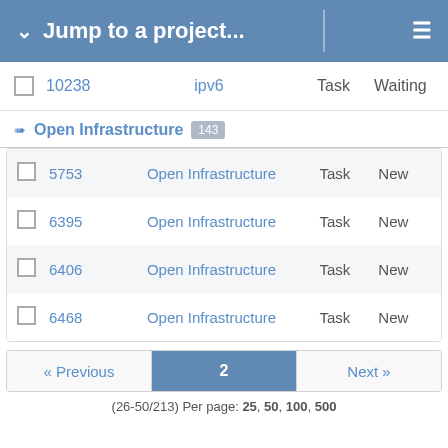Jump to a project...
10238 | ipv6 | Task | Waiting
Open Infrastructure 143
|  | ID | Project | Type | Status |
| --- | --- | --- | --- | --- |
|  | 5753 | Open Infrastructure | Task | New |
|  | 6395 | Open Infrastructure | Task | New |
|  | 6406 | Open Infrastructure | Task | New |
|  | 6468 | Open Infrastructure | Task | New |
« Previous  2  Next »
(26-50/213) Per page: 25, 50, 100, 500